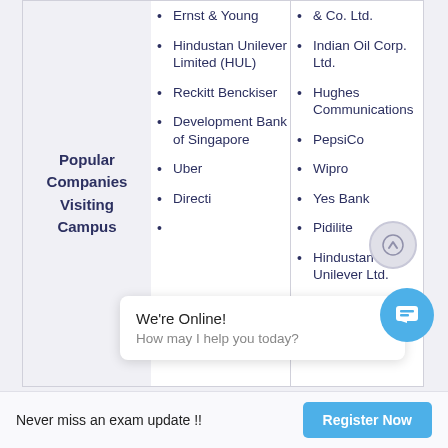| Popular Companies Visiting Campus | Column 2 | Column 3 |
| --- | --- | --- |
|  | Ernst & Young | & Co. Ltd. |
|  | Hindustan Unilever Limited (HUL) | Indian Oil Corp. Ltd. |
| Popular Companies Visiting Campus | Reckitt Benckiser | Hughes Communications |
|  | Development Bank of Singapore | PepsiCo |
|  | Uber | Wipro |
|  | Directi | Yes Bank |
|  |  | Pidilite |
|  |  | Hindustan Unilever Ltd. |
We're Online! How may I help you today?
Never miss an exam update !!